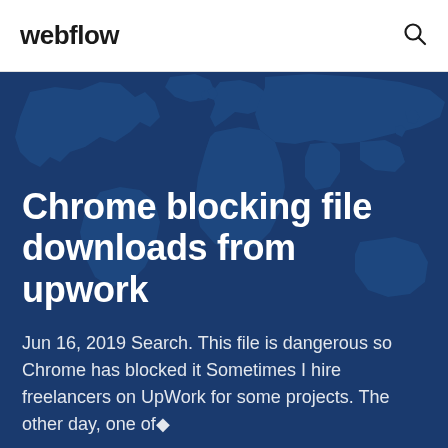webflow
[Figure (illustration): Dark blue world map silhouette illustration used as a background image for the hero section]
Chrome blocking file downloads from upwork
Jun 16, 2019 Search. This file is dangerous so Chrome has blocked it Sometimes I hire freelancers on UpWork for some projects. The other day, one of•